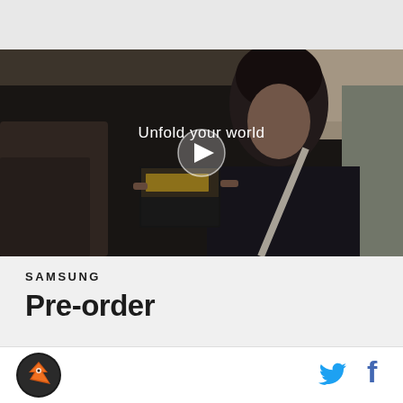[Figure (screenshot): Top navigation/header bar, light gray background]
[Figure (photo): Video thumbnail showing a woman in a car holding an open Samsung foldable phone with text 'Unfold your world' and a play button overlay]
SAMSUNG
Pre-order
[Figure (logo): Circular sports/media logo with bird/hawk icon in orange and black]
[Figure (logo): Twitter bird icon in blue]
[Figure (logo): Facebook f icon in blue]